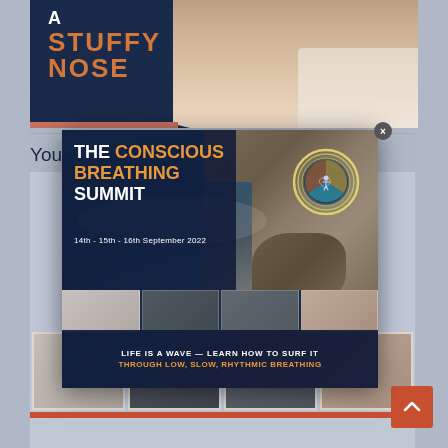[Figure (photo): Top section showing 'A STUFFY NOSE' text overlay on dark navy background with person blowing nose into tissue]
Your
[Figure (infographic): Modal popup for 'THE CONSCIOUS BREATHING SUMMIT' - 14th - 15th - 16th September 2022. Tagline: LIFE IS A WAVE — LEARN HOW TO SURF IT THROUGH LOW, SLOW, RHYTHMIC BREATHING. Features circular logo and ocean/rocks background photo with strip of 4 thumbnail photos at bottom.]
14th - 15th - 16th September 2022
LIFE IS A WAVE — LEARN HOW TO SURF IT
THROUGH LOW, SLOW, RHYTHMIC BREATHING